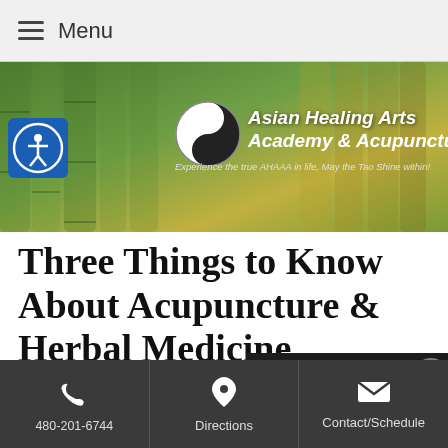Menu
[Figure (logo): Asian Healing Arts Academy & Acupuncture banner with bamboo background, yin-yang symbol, and tagline: Experience the true AHAAA in life, May the Tao Shine within!]
Three Things to Know About Acupuncture & Herbal Medicine
[Figure (photo): Partial image of herbal medicine items including seeds, dried herbs, and red berries on a dark background]
480-201-6744 | Directions | Contact/Schedule